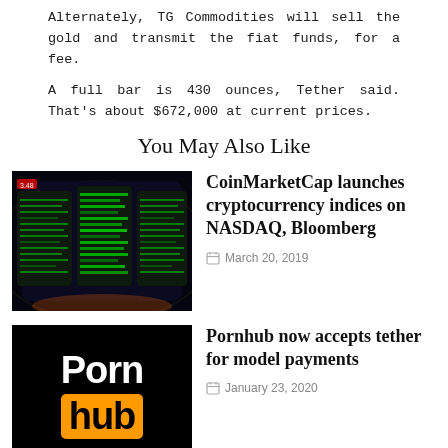Alternately, TG Commodities will sell the gold and transmit the fiat funds, for a fee.
A full bar is 430 ounces, Tether said. That's about $672,000 at current prices.
You May Also Like
[Figure (photo): Stock market trading screens with green data displays]
CoinMarketCap launches cryptocurrency indices on NASDAQ, Bloomberg
March 20, 2019
[Figure (logo): Pornhub logo - black background with white 'Porn' text and orange 'hub' badge]
Pornhub now accepts tether for model payments
January 23, 2020